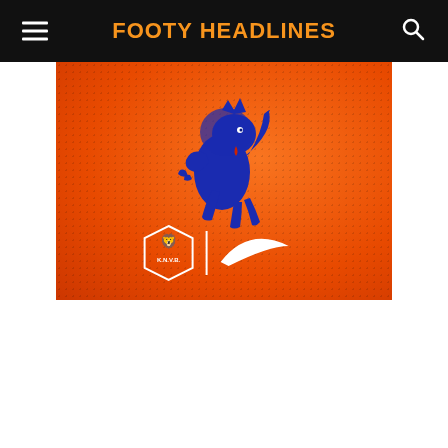FOOTY HEADLINES
[Figure (illustration): Netherlands football kit promotional image on orange background with blue Dutch lion crest and KNVB/Nike logos]